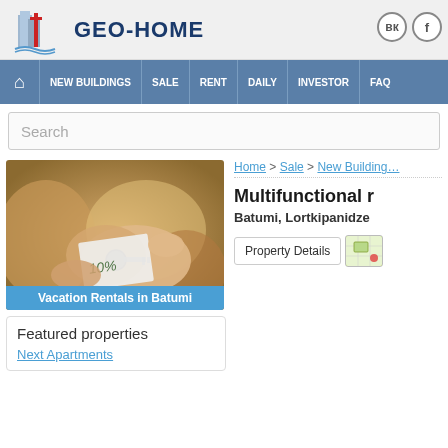[Figure (logo): GEO-HOME real estate logo with building silhouette]
GEO-HOME
NEW BUILDINGS | SALE | RENT | DAILY | INVESTOR | FAQ
Search
[Figure (photo): Vacation Rentals in Batumi - hand holding keys and banknotes]
Vacation Rentals in Batumi
Featured properties
Next Apartments
Home > Sale > New Building
Multifunctional r
Batumi, Lortkipanidze
Property Details